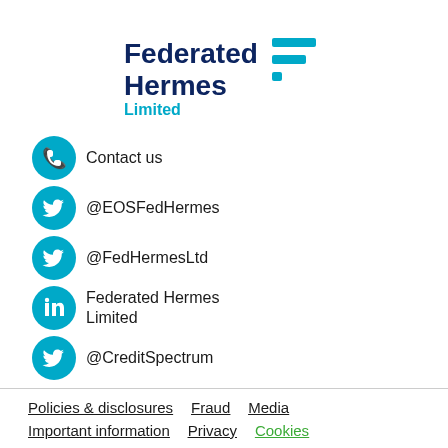[Figure (logo): Federated Hermes Limited logo — dark navy text 'Federated Hermes' with teal horizontal bars icon and teal 'Limited' subtitle]
Contact us
@EOSFedHermes
@FedHermesLtd
Federated Hermes Limited
@CreditSpectrum
Policies & disclosures   Fraud   Media
Important information   Privacy   Cookies
Modern slavery statement